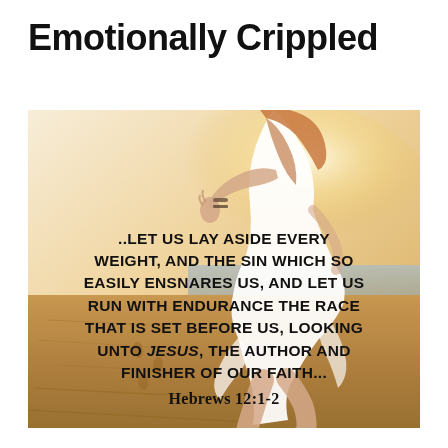Emotionally Crippled
[Figure (photo): A woman in a flowing white dress running on a beach with arm outstretched, warm golden light, sandy shore with ocean in background. Overlaid with Bible verse text.]
..LET US LAY ASIDE EVERY WEIGHT, AND THE SIN WHICH SO EASILY ENSNARES US, AND LET US RUN WITH ENDURANCE THE RACE THAT IS SET BEFORE US, LOOKING UNTO Jesus, THE AUTHOR AND FINISHER OF OUR FAITH... Hebrews 12:1-2